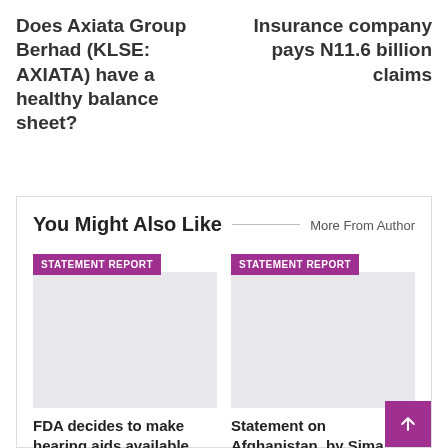Does Axiata Group Berhad (KLSE: AXIATA) have a healthy balance sheet?
Insurance company pays N11.6 billion claims
You Might Also Like
More From Author
STATEMENT REPORT
FDA decides to make hearing aids available without a prescription
STATEMENT REPORT
Statement on Afghanistan, by Sima Bahous, United Nations Under-Secretary-General and...